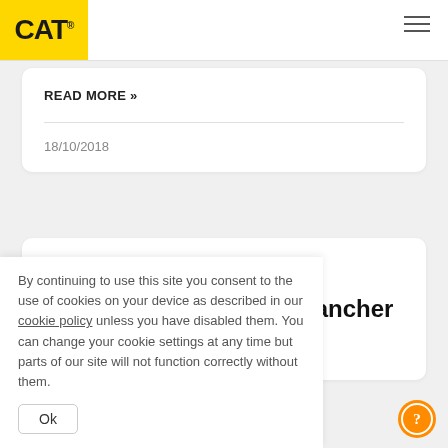CAT® — navigation header with hamburger menu
READ MORE »
18/10/2018
Using Cat phones To #BeUnstoppable: The Rancher Story
By continuing to use this site you consent to the use of cookies on your device as described in our cookie policy unless you have disabled them. You can change your cookie settings at any time but parts of our site will not function correctly without them.
Ok